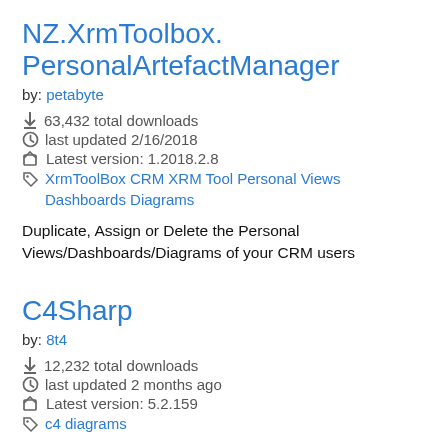NZ.XrmToolbox.PersonalArtefactManager
by: petabyte
63,432 total downloads
last updated 2/16/2018
Latest version: 1.2018.2.8
XrmToolBox CRM XRM Tool Personal Views Dashboards Diagrams
Duplicate, Assign or Delete the Personal Views/Dashboards/Diagrams of your CRM users
C4Sharp
by: 8t4
12,232 total downloads
last updated 2 months ago
Latest version: 5.2.159
c4 diagrams
C4Sharp (C4S) is a simple .NET superset of C4-PlantUML to generate C4 diagrams as code (C#). It's used for building